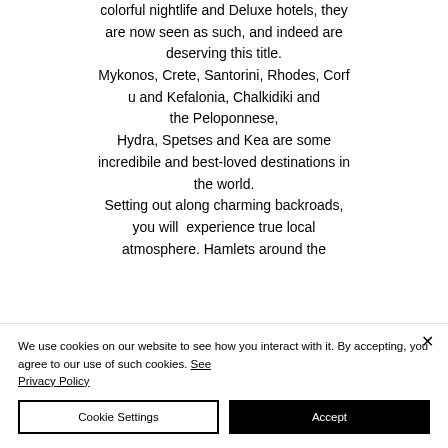colorful nightlife and Deluxe hotels, they are now seen as such, and indeed are deserving this title. Mykonos, Crete, Santorini, Rhodes, Corfu and Kefalonia, Chalkidiki and the Peloponnese, Hydra, Spetses and Kea are some incredibile and best-loved destinations in the world. Setting out along charming backroads, you will experience true local atmosphere. Hamlets around the
We use cookies on our website to see how you interact with it. By accepting, you agree to our use of such cookies. See Privacy Policy